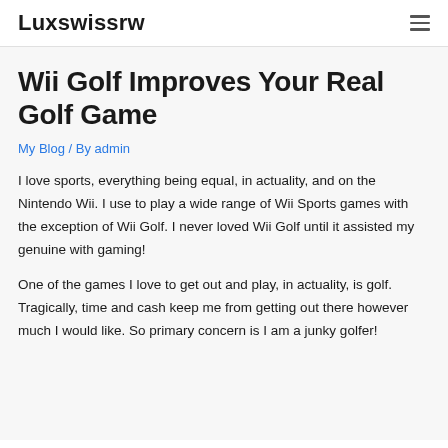Luxswissrw
Wii Golf Improves Your Real Golf Game
My Blog / By admin
I love sports, everything being equal, in actuality, and on the Nintendo Wii. I use to play a wide range of Wii Sports games with the exception of Wii Golf. I never loved Wii Golf until it assisted my genuine with gaming!
One of the games I love to get out and play, in actuality, is golf. Tragically, time and cash keep me from getting out there however much I would like. So primary concern is I am a junky golfer!